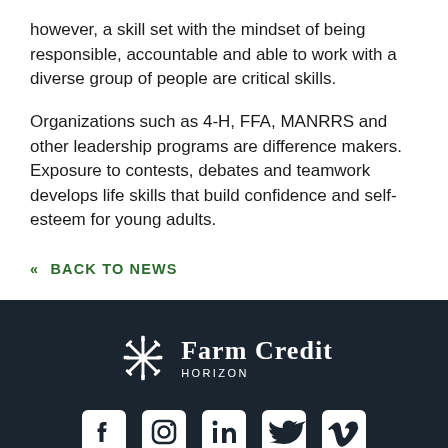however, a skill set with the mindset of being responsible, accountable and able to work with a diverse group of people are critical skills.
Organizations such as 4-H, FFA, MANRRS and other leadership programs are difference makers. Exposure to contests, debates and teamwork develops life skills that build confidence and self-esteem for young adults.
« BACK TO NEWS
[Figure (logo): Farm Credit Horizon logo — white snowflake/wheat icon with 'Farm Credit' in serif font and 'Horizon' below in small caps, on dark background]
[Figure (infographic): Social media icons row: Facebook, Instagram, LinkedIn, Twitter, Vimeo — white icons on dark background]